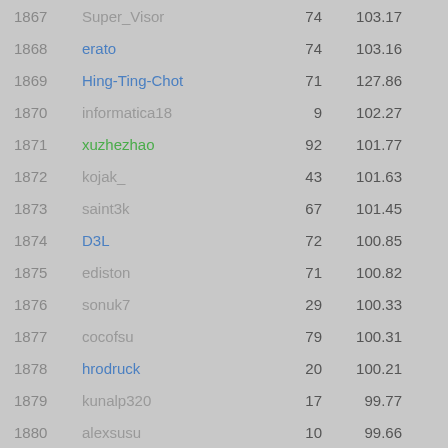| Rank | Name | Col1 | Col2 | Extra |
| --- | --- | --- | --- | --- |
| 1867 | Super_Visor | 74 | 103.17 |  |
| 1868 | erato | 74 | 103.16 |  |
| 1869 | Hing-Ting-Chot | 71 | 127.86 | -25 |
| 1870 | informatica18 | 9 | 102.27 |  |
| 1871 | xuzhezhao | 92 | 101.77 |  |
| 1872 | kojak_ | 43 | 101.63 |  |
| 1873 | saint3k | 67 | 101.45 |  |
| 1874 | D3L | 72 | 100.85 |  |
| 1875 | ediston | 71 | 100.82 |  |
| 1876 | sonuk7 | 29 | 100.33 |  |
| 1877 | cocofsu | 79 | 100.31 |  |
| 1878 | hrodruck | 20 | 100.21 |  |
| 1879 | kunalp320 | 17 | 99.77 |  |
| 1880 | alexsusu | 10 | 99.66 |  |